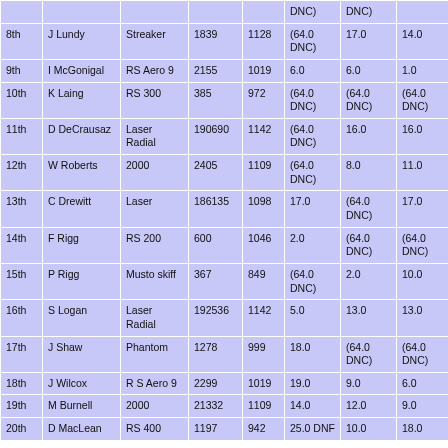|  |  |  |  |  | DNC) | DNC) |  |  |
| --- | --- | --- | --- | --- | --- | --- | --- | --- |
| 8th | J Lundy | Streaker | 1839 | 1128 | (64.0 DNC) | 17.0 | 14.0 | (64.0 DNC) |
| 9th | I McGonigal | RS Aero 9 | 2155 | 1019 | 6.0 | 6.0 | 1.0 | 6.0 |
| 10th | K Laing | RS 300 | 385 | 972 | (64.0 DNC) | (64.0 DNC) | (64.0 DNC) | (64.0 DNC) |
| 11th | D DeCrausaz | Laser Radial | 190690 | 1142 | (64.0 DNC) | 16.0 | 16.0 | 14.0 |
| 12th | W Roberts | 2000 | 2405 | 1109 | (64.0 DNC) | 8.0 | 11.0 | 9.0 |
| 13th | C Drewitt | Laser | 186135 | 1098 | 17.0 | (64.0 DNC) | 17.0 | 13.0 |
| 14th | F Rigg | RS 200 | 600 | 1046 | 2.0 | (64.0 DNC) | (64.0 DNC) | (64.0 DNC) |
| 15th | P Rigg | Musto skiff | 367 | 849 | (64.0 DNC) | 2.0 | 10.0 | (64.0 DNC) |
| 16th | S Logan | Laser Radial | 192536 | 1142 | 5.0 | 13.0 | 13.0 | 7.0 |
| 17th | J Shaw | Phantom | 1278 | 999 | 18.0 | (64.0 DNC) | (64.0 DNC) | (64.0 DNC) |
| 18th | J Wilcox | R S Aero 9 | 2299 | 1019 | 19.0 | 9.0 | 6.0 | 12.0 |
| 19th | M Burnell | 2000 | 21332 | 1109 | 14.0 | 12.0 | 9.0 | 3.0 |
| 20th | D MacLean | RS 400 | 1197 | 942 | 25.0 DNF | 10.0 | 18.0 | 2.0 |